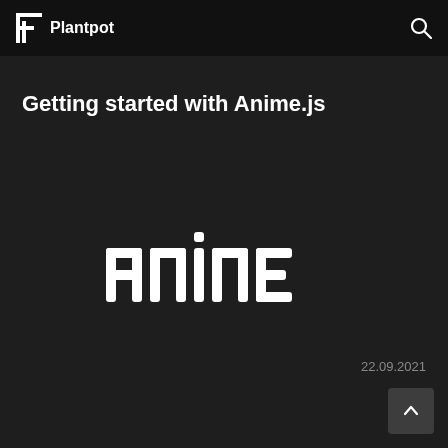Plantpot
Getting started with Anime.js
[Figure (logo): Anime.js logo in white block letters on dark background]
22.09.2021